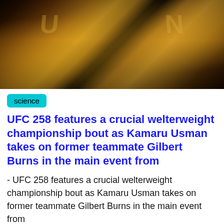[Figure (photo): Close-up promotional image of two fighters' faces with gold/metallic overlay, UFC 258 fight poster style]
science
UFC 258 features a crucial welterweight championship bout as Kamaru Usman takes on former teammate Gilbert Burns in the main event from
- UFC 258 features a crucial welterweight championship bout as Kamaru Usman takes on former teammate Gilbert Burns in the main event from